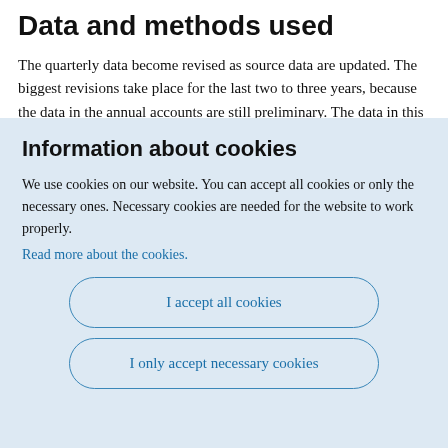Data and methods used
The quarterly data become revised as source data are updated. The biggest revisions take place for the last two to three years, because the data in the annual accounts are still preliminary. The data in this
Information about cookies
We use cookies on our website. You can accept all cookies or only the necessary ones. Necessary cookies are needed for the website to work properly.
Read more about the cookies.
I accept all cookies
I only accept necessary cookies